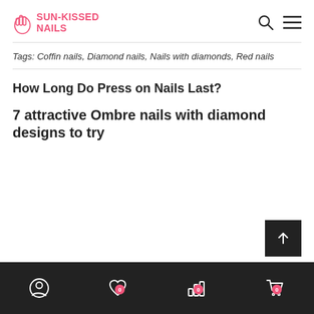SUN-KISSED NAILS
Tags: Coffin nails, Diamond nails, Nails with diamonds, Red nails
How Long Do Press on Nails Last?
7 attractive Ombre nails with diamond designs to try
Navigation bar with account, wishlist (0), stats, and cart (0) icons